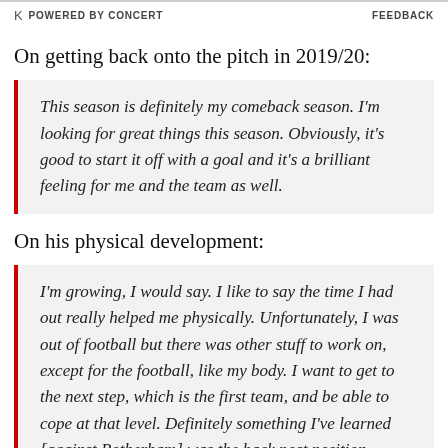POWERED BY CONCERT   FEEDBACK
On getting back onto the pitch in 2019/20:
This season is definitely my comeback season. I'm looking for great things this season. Obviously, it's good to start it off with a goal and it's a brilliant feeling for me and the team as well.
On his physical development:
I'm growing, I would say. I like to say the time I had out really helped me physically. Unfortunately, I was out of football but there was other stuff to work on, except for the football, like my body. I want to get to the next step, which is the first team, and be able to cope at that level. Definitely something I've learned [against Rotherham] was the back post position.